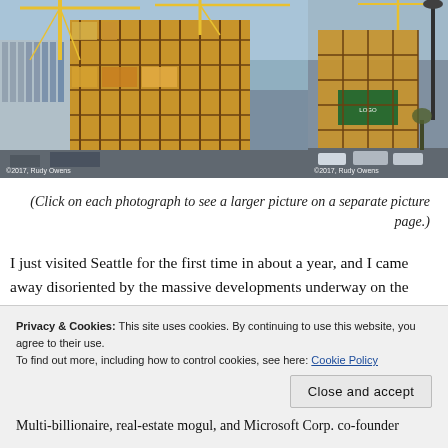[Figure (photo): Two construction site photographs side by side showing a large building under construction with cranes, scaffolding, and multi-story structure in an urban setting. Both photos credited © 2017, Rudy Owens.]
(Click on each photograph to see a larger picture on a separate picture page.)
I just visited Seattle for the first time in about a year, and I came away disoriented by the massive developments underway on the south end of Lake Union.
Privacy & Cookies: This site uses cookies. By continuing to use this website, you agree to their use.
To find out more, including how to control cookies, see here: Cookie Policy
Multi-billionaire, real-estate mogul, and Microsoft Corp. co-founder